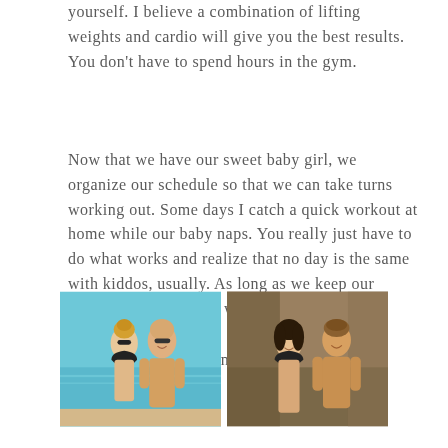yourself.  I believe a combination of lifting weights and cardio will give you the best results.  You don't have to spend hours in the gym.
Now that we have our sweet baby girl, we organize our schedule so that we can take turns working out.  Some days I catch a quick workout at home while our baby naps. You really just have to do what works and realize that no day is the same with kiddos, usually. As long as we keep our nutrition consistent, it works.
I hope this helps you in some way.
Read my book!
[Figure (photo): Two photos side by side: left photo shows a couple at the beach/pool, woman with blonde updo wearing black swimsuit and sunglasses, man shirtless; right photo shows a couple indoors, woman with dark hair in black top, man shirtless.]